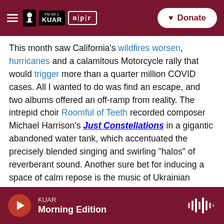FM 89.1 KUAR | NPR | Donate
This month saw California's wildfires worsen, hurricanes and a calamitous Motorcycle rally that would trigger more than a quarter million COVID cases. All I wanted to do was find an escape, and two albums offered an off-ramp from reality. The intrepid choir Roomful of Teeth recorded composer Michael Harrison's Just Constellations in a gigantic abandoned water tank, which accentuated the precisely blended singing and swirling "halos" of reverberant sound. Another sure bet for inducing a space of calm repose is the music of Ukrainian composer Valentin Silvestrov, whose lightly perfumed Piano Concertino softly caresses with
KUAR | Morning Edition